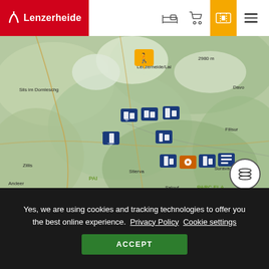Lenzerheide — navigation header with logo, accommodation icon, cart icon, ticket/pass icon (yellow), hamburger menu
[Figure (map): Interactive Leaflet map showing the Lenzerheide/Valbella area in the Swiss Alps (Graubünden). Shows topographic terrain with place names: Sils im Domleschg, Vaz/Obervaz, Lenzerheide/Lai, 2980 m altitude marker, Davoser direction, Filisur, Stierva, Savognin/Surava, PAI, PARC ELA, Salouf, Piz Curvér, 2073 m, Andeer, Zillis. Multiple blue map markers with building/ski area icons and one yellow hiker icon are placed across the map. A layers button (stacked circles icon) appears bottom-right of the map. Attribution: Leaflet | © OpenStreetMap, © swisstopo.]
Yes, we are using cookies and tracking technologies to offer you the best online experience.  Privacy Policy  Cookie settings
ACCEPT